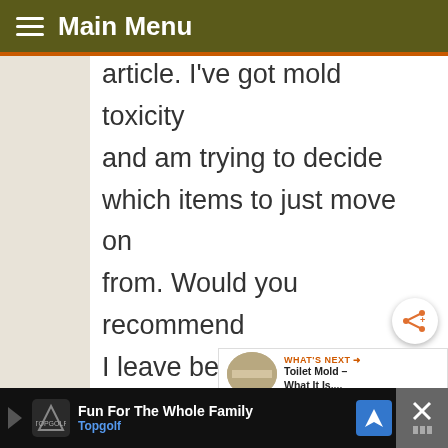Main Menu
article. I've got mold toxicity and am trying to decide which items to just move on from. Would you recommend I leave behind my wooden kitchen table, leather chair, and wood bed frame? Mold spores can sink into all of
Fun For The Whole Family — Topgolf